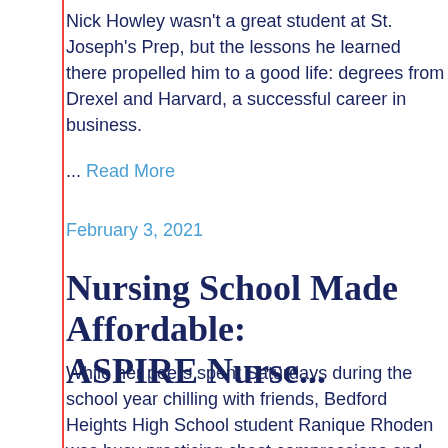Nick Howley wasn't a great student at St. Joseph's Prep, but the lessons he learned there propelled him to a good life: degrees from Drexel and Harvard, a successful career in business.
... Read More
February 3, 2021
Nursing School Made Affordable: ASPIRE Nurse...
While her peers spent Saturdays during the school year chilling with friends, Bedford Heights High School student Ranique Rhoden was busy practicing chest compressions and starting on a nursing... Read More